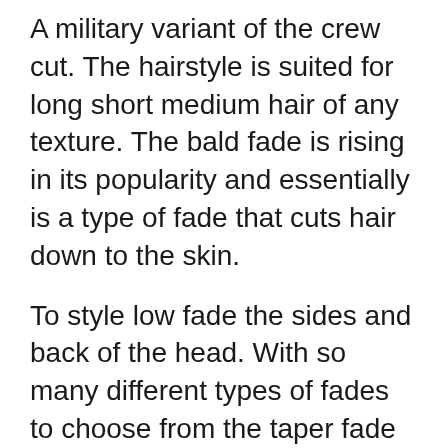A military variant of the crew cut. The hairstyle is suited for long short medium hair of any texture. The bald fade is rising in its popularity and essentially is a type of fade that cuts hair down to the skin.
To style low fade the sides and back of the head. With so many different types of fades to choose from the taper fade haircut offers a level of versatility and styling that brings this classic cut into the modern day. The fade on the sides will only enhance the rebellious hipster look.
With the fashion industry becoming advanced at a fast pace there are newer trends in the market every other day. If youre looking for the finest hairstyle check out